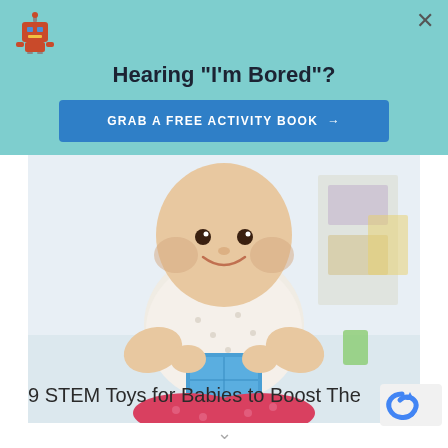[Figure (logo): Robot emoji logo icon in top-left corner]
Hearing "I'm Bored"?
GRAB A FREE ACTIVITY BOOK →
[Figure (photo): A chubby baby in a white polka-dot shirt and red pants, sitting and holding a blue toy block, with a blurred room background]
9 STEM Toys for Babies to Boost The